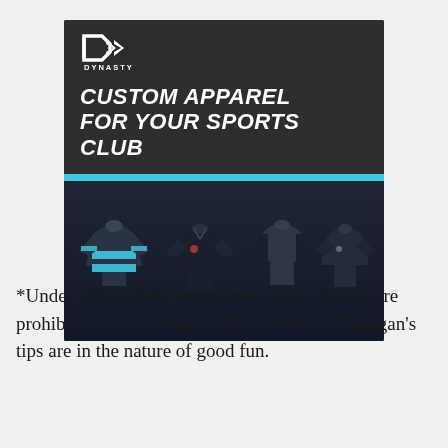[Figure (illustration): Dynasty Custom Apparel advertisement banner. Dark background with Dynasty logo (stylized D with arrows) at top left, bold white italic text reading 'CUSTOM APPAREL FOR YOUR SPORTS CLUB', a cyan horizontal bar, and an image of four headless mannequins wearing custom sports jerseys/shirts in dark and cyan colors.]
*Under official NRL guidelines, Club officials are prohibited from betting on NRL matches. Flanagan’s tips are in the nature of good fun.